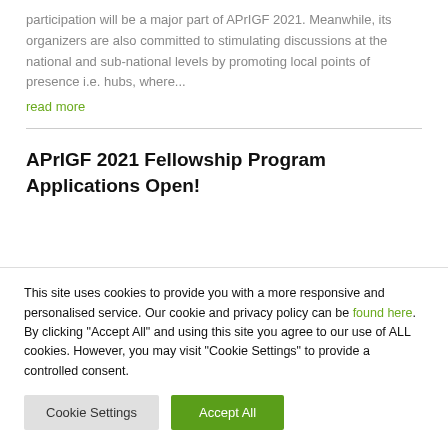participation will be a major part of APrIGF 2021. Meanwhile, its organizers are also committed to stimulating discussions at the national and sub-national levels by promoting local points of presence i.e. hubs, where...
read more
APrIGF 2021 Fellowship Program Applications Open!
This site uses cookies to provide you with a more responsive and personalised service. Our cookie and privacy policy can be found here. By clicking "Accept All" and using this site you agree to our use of ALL cookies. However, you may visit "Cookie Settings" to provide a controlled consent.